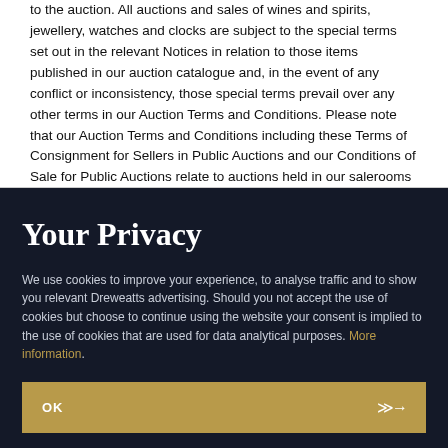to the auction. All auctions and sales of wines and spirits, jewellery, watches and clocks are subject to the special terms set out in the relevant Notices in relation to those items published in our auction catalogue and, in the event of any conflict or inconsistency, those special terms prevail over any other terms in our Auction Terms and Conditions. Please note that our Auction Terms and Conditions including these Terms of Consignment for Sellers in Public Auctions and our Conditions of Sale for Public Auctions relate to auctions held in our salerooms and we have separate terms and conditions for our online
Your Privacy
We use cookies to improve your experience, to analyse traffic and to show you relevant Dreweatts advertising. Should you not accept the use of cookies but choose to continue using the website your consent is implied to the use of cookies that are used for data analytical purposes. More information.